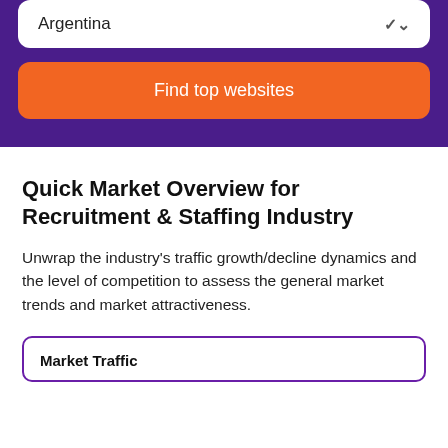Argentina
Find top websites
Quick Market Overview for Recruitment & Staffing Industry
Unwrap the industry's traffic growth/decline dynamics and the level of competition to assess the general market trends and market attractiveness.
Market Traffic